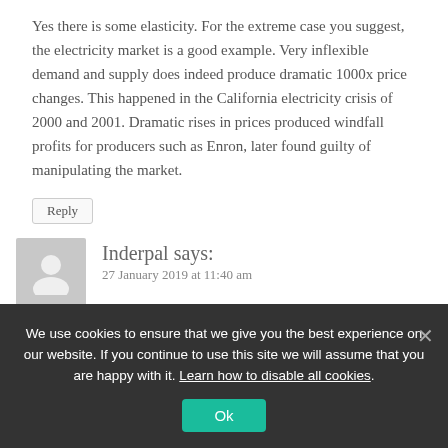Yes there is some elasticity. For the extreme case you suggest, the electricity market is a good example. Very inflexible demand and supply does indeed produce dramatic 1000x price changes. This happened in the California electricity crisis of 2000 and 2001. Dramatic rises in prices produced windfall profits for producers such as Enron, later found guilty of manipulating the market.
Reply
Inderpal says:
27 January 2019 at 11:40 am
how change in oil prices changes elasticity of demand?
We use cookies to ensure that we give you the best experience on our website. If you continue to use this site we will assume that you are happy with it. Learn how to disable all cookies.
Ok